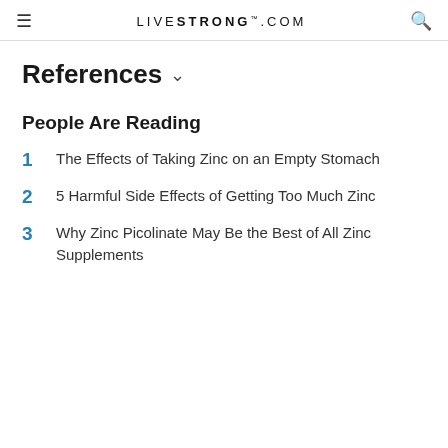LIVESTRONG.COM
References
People Are Reading
1  The Effects of Taking Zinc on an Empty Stomach
2  5 Harmful Side Effects of Getting Too Much Zinc
3  Why Zinc Picolinate May Be the Best of All Zinc Supplements